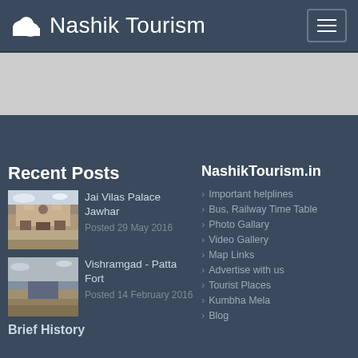Nashik Tourism
Recent Posts
[Figure (photo): Thumbnail of Jai Vilas Palace Jawhar]
Jai Vilas Palace Jawhar
Posted 29 May 2016
[Figure (photo): Thumbnail of Vishramgad - Patta Fort]
Vishramgad - Patta Fort
Posted 14 February 2016
Brief History
NashikTourism.in
Important helplines
Bus, Railway Time Table
Photo Gallary
Video Gallery
Map Links
Advertise with us
Tourist Places
Kumbha Mela
Blog